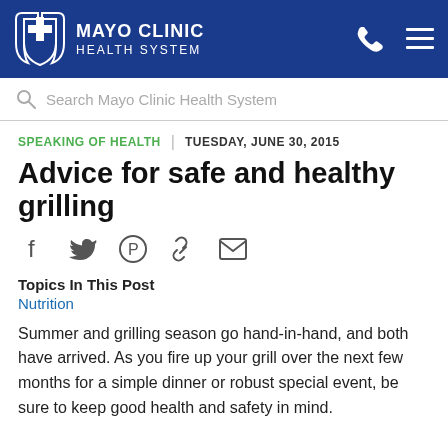MAYO CLINIC HEALTH SYSTEM
Search Mayo Clinic Health System
SPEAKING OF HEALTH | TUESDAY, JUNE 30, 2015
Advice for safe and healthy grilling
Topics In This Post
Nutrition
Summer and grilling season go hand-in-hand, and both have arrived. As you fire up your grill over the next few months for a simple dinner or robust special event, be sure to keep good health and safety in mind.